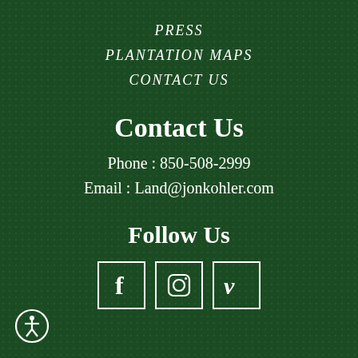PRESS
PLANTATION MAPS
CONTACT US
Contact Us
Phone : 850-508-2999
Email : Land@jonkohler.com
Follow Us
[Figure (logo): Social media icons for Facebook, Instagram, and Vimeo in white outlined squares]
[Figure (logo): Accessibility icon - person figure in a circle, white outline, bottom left corner]